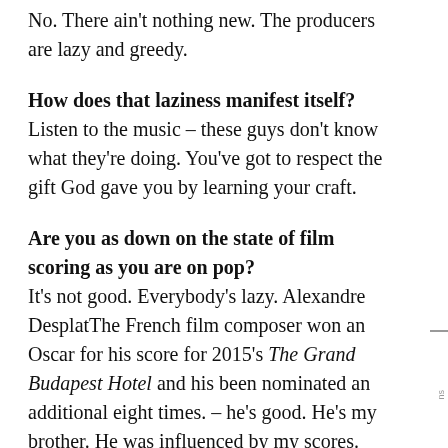No. There ain't nothing new. The producers are lazy and greedy.
How does that laziness manifest itself?
Listen to the music – these guys don't know what they're doing. You've got to respect the gift God gave you by learning your craft.
Are you as down on the state of film scoring as you are on pop?
It's not good. Everybody's lazy. Alexandre DesplatThe French film composer won an Oscar for his score for 2015's The Grand Budapest Hotel and his been nominated an additional eight times. – he's good. He's my brother. He was influenced by my scores.